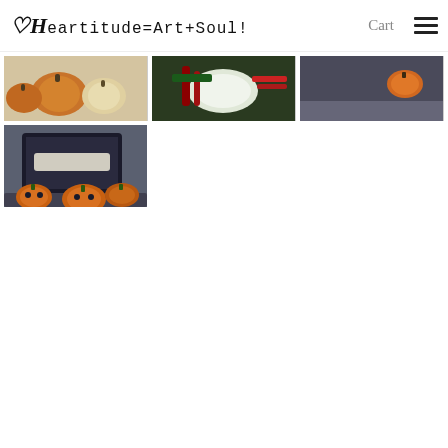Heartitude=Art+Soul  Cart
[Figure (photo): Photo of orange and white pumpkins on light background]
[Figure (photo): Photo of colorful autumn vegetables including red/white/green produce]
[Figure (photo): Photo of small orange pumpkin on dark gray surface]
[Figure (photo): Photo of felted orange pumpkin decorations in front of a laptop screen]